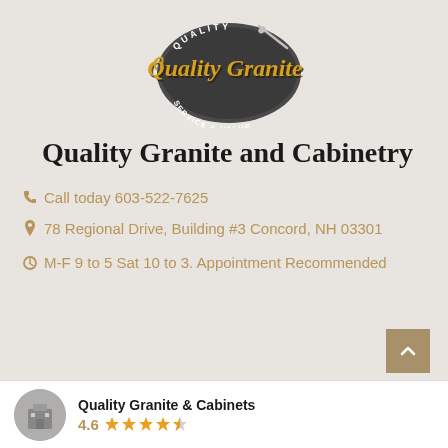[Figure (logo): Quality Granite logo with circular badge reading QUALITY SERVICE & VALUE and stylized cursive text saying Quality Granite in gold and dark colors]
Quality Granite and Cabinetry
Call today 603-522-7625
78 Regional Drive, Building #3 Concord, NH 03301
M-F 9 to 5 Sat 10 to 3. Appointment Recommended
Quality Granite & Cabinets
4.6 stars rating